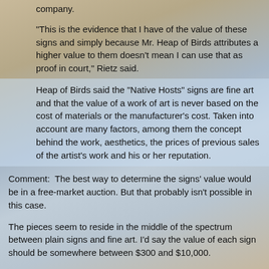company.
"This is the evidence that I have of the value of these signs and simply because Mr. Heap of Birds attributes a higher value to them doesn't mean I can use that as proof in court," Rietz said.
Heap of Birds said the "Native Hosts" signs are fine art and that the value of a work of art is never based on the cost of materials or the manufacturer's cost. Taken into account are many factors, among them the concept behind the work, aesthetics, the prices of previous sales of the artist's work and his or her reputation.
Comment:  The best way to determine the signs' value would be in a free-market auction. But that probably isn't possible in this case.
The pieces seem to reside in the middle of the spectrum between plain signs and fine art. I'd say the value of each sign should be somewhere between $300 and $10,000.